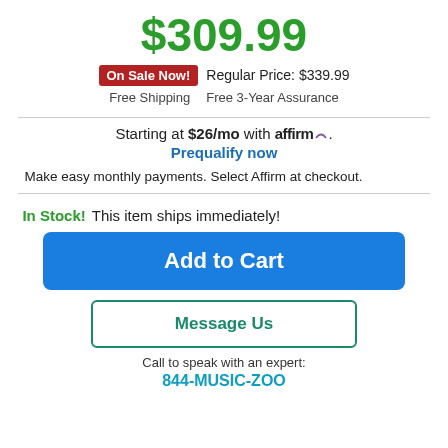$309.99
On Sale Now!  Regular Price: $339.99
Free Shipping   Free 3-Year Assurance
Starting at $26/mo with affirm. Prequalify now
Make easy monthly payments. Select Affirm at checkout.
In Stock!  This item ships immediately!
Add to Cart
Message Us
Call to speak with an expert:
844-MUSIC-ZOO